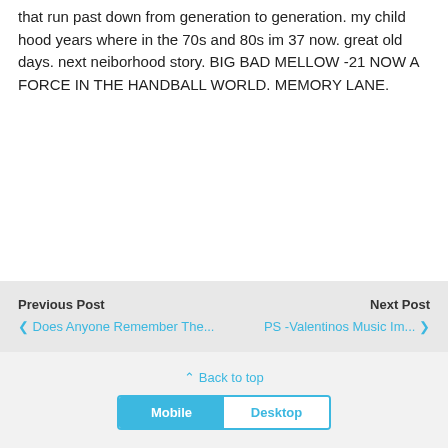that run past down from generation to generation. my child hood years where in the 70s and 80s im 37 now. great old days. next neiborhood story. BIG BAD MELLOW -21 NOW A FORCE IN THE HANDBALL WORLD. MEMORY LANE.
Previous Post | Does Anyone Remember The... | Next Post | PS -Valentinos Music Im... | Back to top | Mobile | Desktop